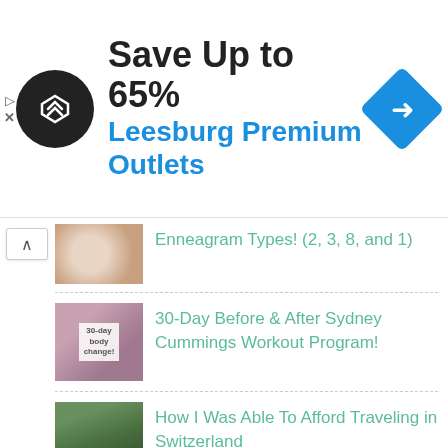[Figure (screenshot): Advertisement banner: black circular logo with arrow symbol, 'Save Up to 65%' in bold black text, 'Leesburg Premium Outlets' in blue text, blue diamond navigation icon on right]
Enneagram Types! (2, 3, 8, and 1)
30-Day Before & After Sydney Cummings Workout Program!
How I Was Able To Afford Traveling in Switzerland
Top Impressionable Moments In Switzerland...
Rawlicious + Chipotle Restaurant Visits! {WIAW #13}